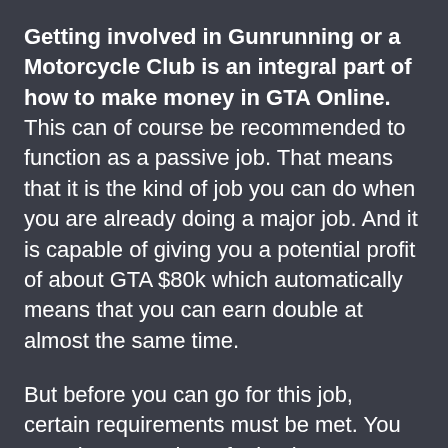Getting involved in Gunrunning or a Motorcycle Club is an integral part of how to make money in GTA Online. This can of course be recommended to function as a passive job. That means that it is the kind of job you can do when you are already doing a major job. And it is capable of giving you a potential profit of about GTA $80k which automatically means that you can earn double at almost the same time.
But before you can go for this job, certain requirements must be met. You must be a member of a business organization and must equally have a Bunker which will cost a minimum of GTA $1.2m.
When you purchase supplies, it is time effective and convenient. This will set your staff to